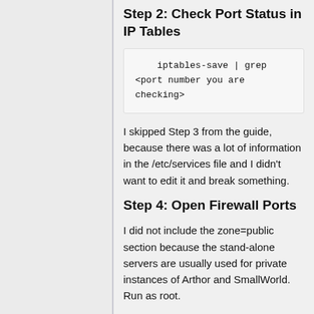Step 2: Check Port Status in IP Tables
iptables-save | grep
<port number you are
checking>
I skipped Step 3 from the guide, because there was a lot of information in the /etc/services file and I didn't want to edit it and break something.
Step 4: Open Firewall Ports
I did not include the zone=public section because the stand-alone servers are usually used for private instances of Arthor and SmallWorld. Run as root.